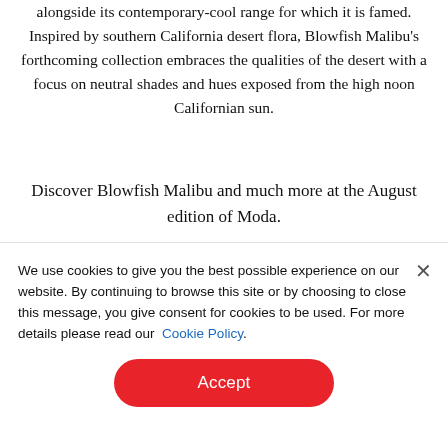anticipated a capsule collection of vegan sandals alongside its contemporary-cool range for which it is famed. Inspired by southern California desert flora, Blowfish Malibu's forthcoming collection embraces the qualities of the desert with a focus on neutral shades and hues exposed from the high noon Californian sun.
Discover Blowfish Malibu and much more at the August edition of Moda.
We use cookies to give you the best possible experience on our website. By continuing to browse this site or by choosing to close this message, you give consent for cookies to be used. For more details please read our Cookie Policy.